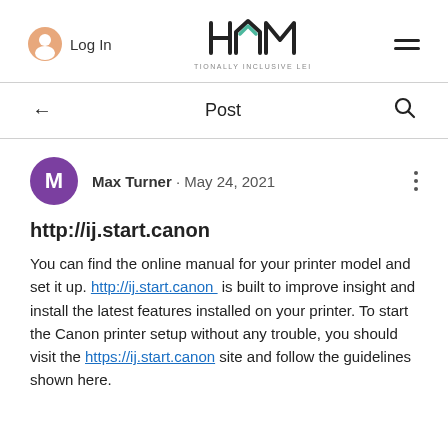Log In  HAM TIONALLY INCLUSIVE LEI
Post
Max Turner · May 24, 2021
http://ij.start.canon
You can find the online manual for your printer model and set it up. http://ij.start.canon is built to improve insight and install the latest features installed on your printer. To start the Canon printer setup without any trouble, you should visit the https://ij.start.canon site and follow the guidelines shown here.